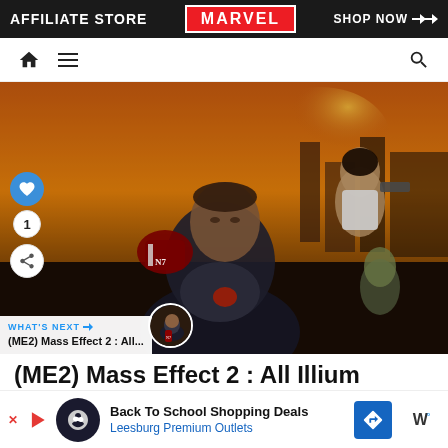[Figure (screenshot): Affiliate store banner ad with Marvel branding: black background, white text 'AFFILIATE STORE', red Marvel logo in center, 'SHOP NOW >>' on right]
[Figure (screenshot): Website navigation bar with home icon, hamburger menu icon, and search icon]
[Figure (screenshot): Mass Effect 2 promotional image showing Commander Shepard in N7 armor in foreground with female companion holding gun and alien companion in background, set in sci-fi environment. Overlay shows like button (heart icon, count: 1), share button, and 'WHAT'S NEXT' preview showing '(ME2) Mass Effect 2 : All...']
(ME2) Mass Effect 2 : All Illium
As
[Figure (screenshot): Bottom advertisement banner: 'Back To School Shopping Deals' and 'Leesburg Premium Outlets' with navigation/maps app icon]